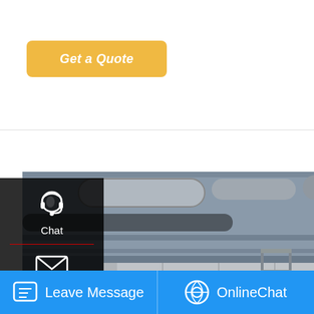Get a Quote
[Figure (photo): Industrial boiler room with large horizontal cylindrical gas-fired boiler, silver insulated pipes and ducts, metal walkways inside a factory/industrial facility]
[Figure (illustration): Left sidebar: dark overlay panel with Chat (headset icon), Email (envelope icon), and Contact (chat bubble icon) options, each separated by red dividers]
[Figure (illustration): Up-arrow scroll-to-top button on the right side]
20t Natural Gas Fired Boiler
[Figure (screenshot): WhatsApp purple popup overlay with 'Save Stickers on WhatsApp' text and phone/emoji icons]
Leave Message
OnlineChat